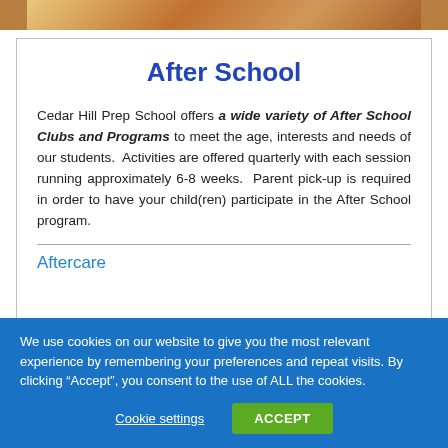[Figure (photo): Photo strip of children at school activities]
After School
Cedar Hill Prep School offers a wide variety of After School Clubs and Programs to meet the age, interests and needs of our students. Activities are offered quarterly with each session running approximately 6-8 weeks. Parent pick-up is required in order to have your child(ren) participate in the After School program.
Aftercare
We use cookies on our website to give you the most relevant experience by remembering your preferences and repeat visits. By clicking “Accept”, you consent to the use of ALL the cookies.